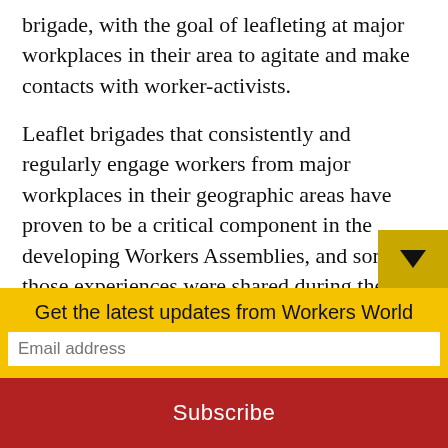brigade, with the goal of leafleting at major workplaces in their area to agitate and make contacts with worker-activists.
Leaflet brigades that consistently and regularly engage workers from major workplaces in their geographic areas have proven to be a critical component in the developing Workers Assemblies, and some of those experiences were shared during the SWA School.
One particularly valuable lesson in the role
Get the latest updates from Workers World
Email address
Subscribe